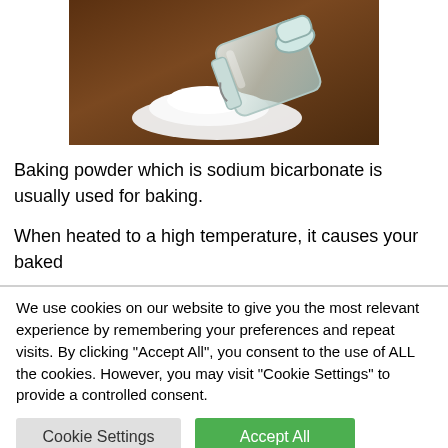[Figure (photo): A glass jar tipped on its side on a wooden surface, with white baking powder/sodium bicarbonate spilling out]
Baking powder which is sodium bicarbonate is usually used for baking.
When heated to a high temperature, it causes your baked
We use cookies on our website to give you the most relevant experience by remembering your preferences and repeat visits. By clicking "Accept All", you consent to the use of ALL the cookies. However, you may visit "Cookie Settings" to provide a controlled consent.